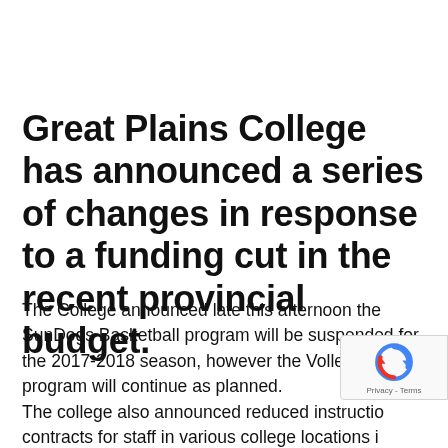Great Plains College has announced a series of changes in response to a funding cut in the recent provincial budget.
The College announced late this afternoon the SunDogs Basketball program will be suspended for the 2017-2018 season, however the Volleyball program will continue as planned. The college also announced reduced instruction contracts for staff in various college locations i… (text continues) …the Adult Basic…